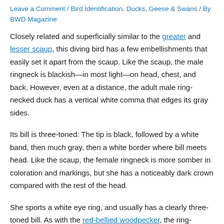Leave a Comment / Bird Identification, Ducks, Geese & Swans / By BWD Magazine
Closely related and superficially similar to the greater and lesser scaup, this diving bird has a few embellishments that easily set it apart from the scaup. Like the scaup, the male ringneck is blackish—in most light—on head, chest, and back. However, even at a distance, the adult male ring-necked duck has a vertical white comma that edges its gray sides.
Its bill is three-toned: The tip is black, followed by a white band, then much gray, then a white border where bill meets head. Like the scaup, the female ringneck is more somber in coloration and markings, but she has a noticeably dark crown compared with the rest of the head.
She sports a white eye ring, and usually has a clearly three-toned bill. As with the red-bellied woodpecker, the ring-necked duck's